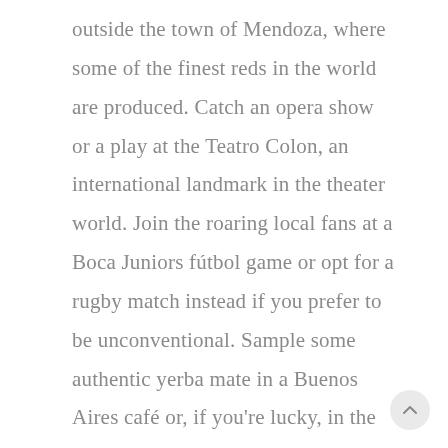outside the town of Mendoza, where some of the finest reds in the world are produced. Catch an opera show or a play at the Teatro Colon, an international landmark in the theater world. Join the roaring local fans at a Boca Juniors fútbol game or opt for a rugby match instead if you prefer to be unconventional. Sample some authentic yerba mate in a Buenos Aires café or, if you're lucky, in the company of a gaucho, one of Argentina's legendary cowboys. Go on your own epic South American road trip down Route 40 that cuts all the way down Argentina from north to south, taking you through 3100 miles of the